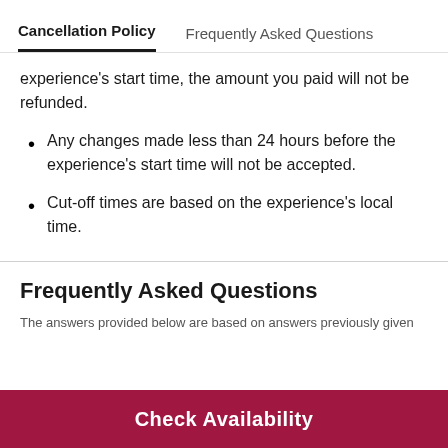Cancellation Policy | Frequently Asked Questions
experience's start time, the amount you paid will not be refunded.
Any changes made less than 24 hours before the experience's start time will not be accepted.
Cut-off times are based on the experience's local time.
Frequently Asked Questions
The answers provided below are based on answers previously given
Check Availability